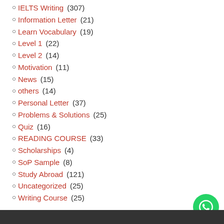IELTS Writing (307)
Information Letter (21)
Learn Vocabulary (19)
Level 1 (22)
Level 2 (14)
Motivation (11)
News (15)
others (14)
Personal Letter (37)
Problems & Solutions (25)
Quiz (16)
READING COURSE (33)
Scholarships (4)
SoP Sample (8)
Study Abroad (121)
Uncategorized (25)
Writing Course (25)
[Figure (other): WhatsApp contact button (green circle with phone icon) in bottom-right corner]